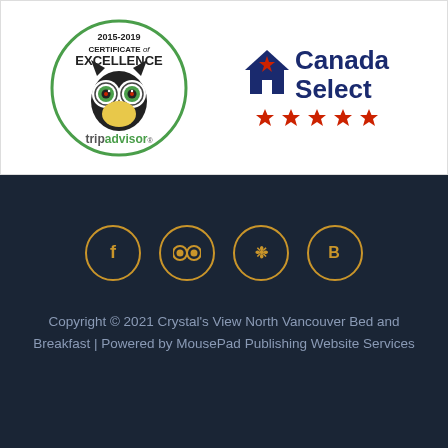[Figure (logo): TripAdvisor 2015-2019 Certificate of Excellence logo with owl mascot inside a green circle]
[Figure (logo): Canada Select 4-star rating logo with house icon, maple leaf star, and four red stars]
[Figure (logo): Four social media circular icon buttons: Facebook, TripAdvisor, Yelp, and Booking.com, outlined in gold/yellow on dark background]
Copyright © 2021 Crystal's View North Vancouver Bed and Breakfast | Powered by MousePad Publishing Website Services